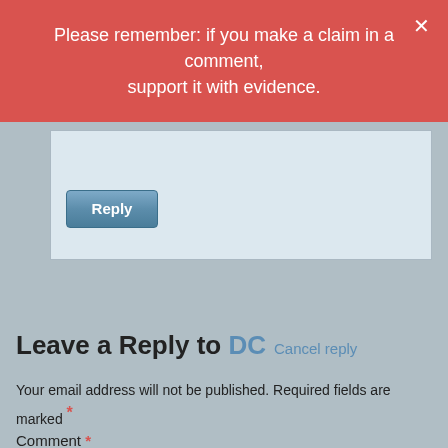Please remember: if you make a claim in a comment, support it with evidence.
Leave a Reply to DC Cancel reply
Your email address will not be published. Required fields are marked *
Comment *
This website uses necessary cookies to make it work and to remember your preferences. Click on 'Cookie settings' to control your consent for other cookies or click on 'Accept all' to consent to the use of all cookies. By continuing to browse this website you are agreeing to our Privacy policy.
Accept all
Cookie settings
Privacy policy